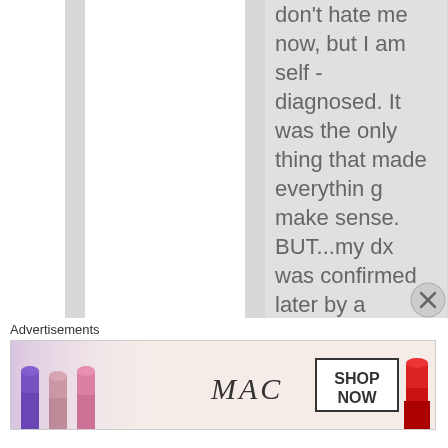don't hate me now, but I am self-diagnosed. It was the only thing that made everything make sense. BUT...my dx was confirmed later by a psychiatrist, so I also have
Advertisements
[Figure (photo): MAC cosmetics advertisement banner showing lipsticks in purple, peach, pink colors on the left, MAC logo in the center, SHOP NOW box, and a red lipstick on the right]